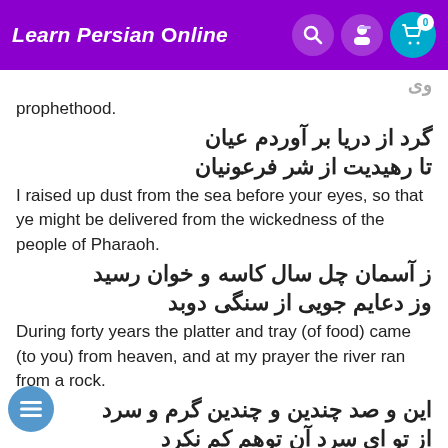Learn Persian Online
prophethood.
گرد از دریا بر آوردم عیان
تا رهیدیت از شر فرعونیان
I raised up dust from the sea before your eyes, so that ye might be delivered from the wickedness of the people of Pharaoh.
ز آسمان چل سال کاسه و خوان رسید
وز دعایم جویی از سنگی دوبد
During forty years the platter and tray (of food) came (to you) from heaven, and at my prayer the river ran from a rock.
این و صد چندین و چندین گرم و سرد
از تو ای سرد آن توهم کم نکرد